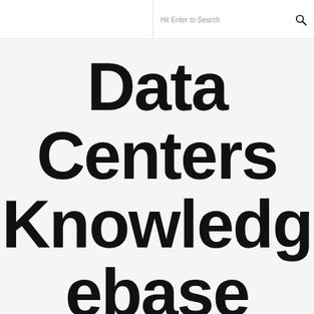Hit Enter to Search
Data Centers Knowledgebase Bl